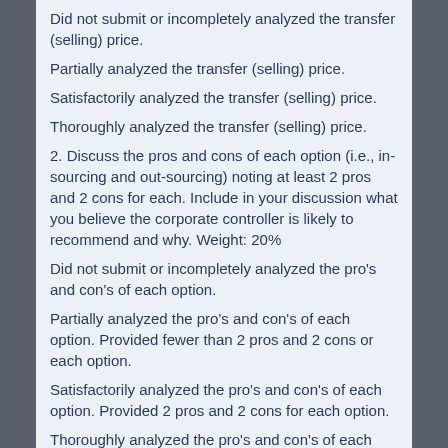Did not submit or incompletely analyzed the transfer (selling) price.
Partially analyzed the transfer (selling) price.
Satisfactorily analyzed the transfer (selling) price.
Thoroughly analyzed the transfer (selling) price.
2. Discuss the pros and cons of each option (i.e., in-sourcing and out-sourcing) noting at least 2 pros and 2 cons for each. Include in your discussion what you believe the corporate controller is likely to recommend and why. Weight: 20%
Did not submit or incompletely analyzed the pro's and con's of each option.
Partially analyzed the pro's and con's of each option. Provided fewer than 2 pros and 2 cons or each option.
Satisfactorily analyzed the pro's and con's of each option. Provided 2 pros and 2 cons for each option.
Thoroughly analyzed the pro's and con's of each option. Provided more than 2 pros and 2 cons for each option.
3. How would you suggest that the company handles